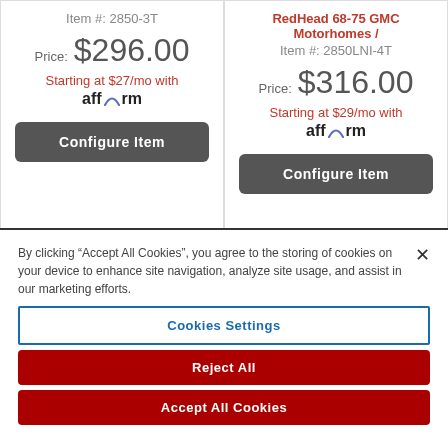Item #: 2850-3T
Price: $296.00
Starting at $27/mo with affirm
Configure Item
RedHead 68-75 GMC Motorhomes /
Item #: 2850LNI-4T
Price: $316.00
Starting at $29/mo with affirm
Configure Item
By clicking “Accept All Cookies”, you agree to the storing of cookies on your device to enhance site navigation, analyze site usage, and assist in our marketing efforts.
Cookies Settings
Reject All
Accept All Cookies